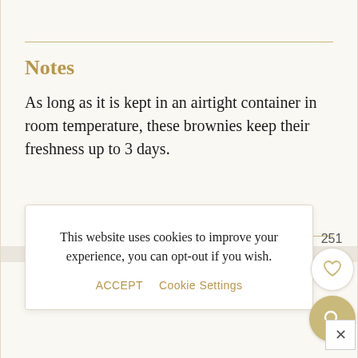Notes
As long as it is kept in an airtight container in room temperature, these brownies keep their freshness up to 3 days.
This website uses cookies to improve your experience, you can opt-out if you wish.
ACCEPT   Cookie Settings